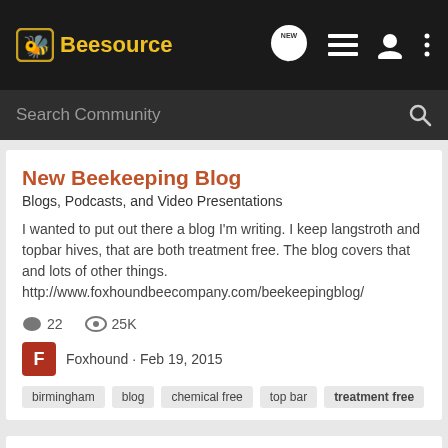Beesource
Search Community
New Beekeeping Blog
Blogs, Podcasts, and Video Presentations
I wanted to put out there a blog I'm writing. I keep langstroth and topbar hives, that are both treatment free. The blog covers that and lots of other things. http://www.foxhoundbeecompany.com/beekeepingblog/
22  25K
Foxhound · Feb 19, 2015
birmingham  blog  chemical free  top bar  treatment free
Rethinking it.
Bee Forum